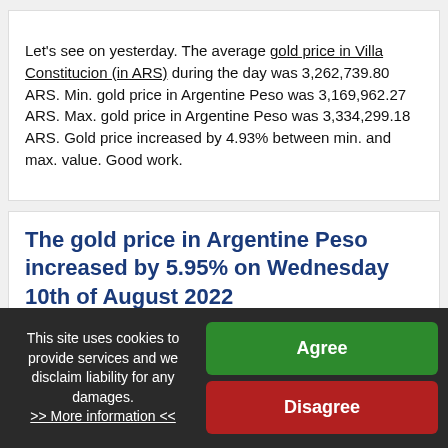Let's see on yesterday. The average gold price in Villa Constitucion (in ARS) during the day was 3,262,739.80 ARS. Min. gold price in Argentine Peso was 3,169,962.27 ARS. Max. gold price in Argentine Peso was 3,334,299.18 ARS. Gold price increased by 4.93% between min. and max. value. Good work.
The gold price in Argentine Peso increased by 5.95% on Wednesday 10th of August 2022
Let's take a look at interesting data from yesterday. Min. gold price in Argentine Peso was 3,040,212.69 ARS. Max. gold price in Argentine Peso was 3,232,504.97
This site uses cookies to provide services and we disclaim liability for any damages. >> More information <<